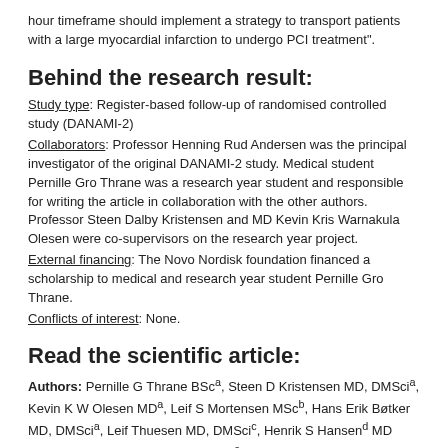hour timeframe should implement a strategy to transport patients with a large myocardial infarction to undergo PCI treatment".
Behind the research result:
Study type: Register-based follow-up of randomised controlled study (DANAMI-2)
Collaborators: Professor Henning Rud Andersen was the principal investigator of the original DANAMI-2 study. Medical student Pernille Gro Thrane was a research year student and responsible for writing the article in collaboration with the other authors. Professor Steen Dalby Kristensen and MD Kevin Kris Warnakula Olesen were co-supervisors on the research year project.
External financing: The Novo Nordisk foundation financed a scholarship to medical and research year student Pernille Gro Thrane.
Conflicts of interest: None.
Read the scientific article:
Authors: Pernille G Thrane BSca, Steen D Kristensen MD, DMScia, Kevin K W Olesen MDa, Leif S Mortensen MScb, Hans Erik Bøtker MD, DMScia, Leif Thuesen MD, DMScic, Henrik S Hansend MD DMSci, Ulrik Abildgaard MD, DMScie, Thomas Engstrøm MD, DMScif-, Henning R Andersen MD, DMScia, Michael Maeng MD, PhDa
a: Department of Cardiology, Aarhus University Hospital